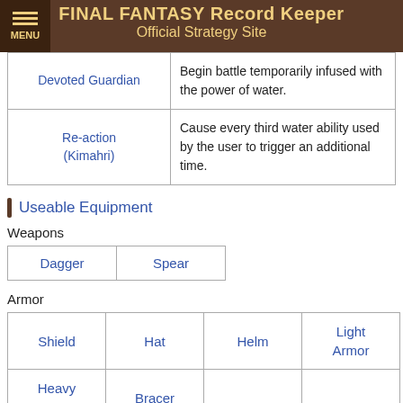FINAL FANTASY Record Keeper Official Strategy Site
| Ability | Description |
| --- | --- |
| Devoted Guardian | Begin battle temporarily infused with the power of water. |
| Re-action (Kimahri) | Cause every third water ability used by the user to trigger an additional time. |
Useable Equipment
Weapons
| Dagger | Spear |
Armor
| Shield | Hat | Helm | Light Armor |
| Heavy Armor | Bracer |  |  |